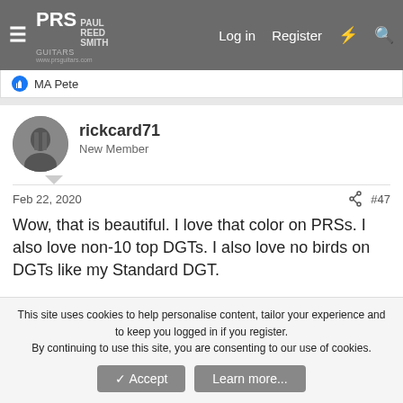PRS Paul Reed Smith Guitars — Log in | Register
MA Pete
rickcard71
New Member
Feb 22, 2020   #47
Wow, that is beautiful. I love that color on PRSs. I also love non-10 top DGTs. I also love no birds on DGTs like my Standard DGT.

I can't believe they are putting the old knobs on these now, that is awesome. I love lampshades but love the vintagesque speed knobs.
This site uses cookies to help personalise content, tailor your experience and to keep you logged in if you register.
By continuing to use this site, you are consenting to our use of cookies.